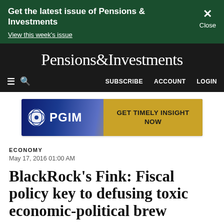Get the latest issue of Pensions & Investments
View this week's issue
Pensions&Investments
≡ Q   SUBSCRIBE   ACCOUNT   LOGIN
[Figure (logo): PGIM advertisement banner: PGIM logo on left with globe icon, gold button on right reading GET TIMELY INSIGHT NOW]
ECONOMY
May 17, 2016 01:00 AM
BlackRock's Fink: Fiscal policy key to defusing toxic economic-political brew